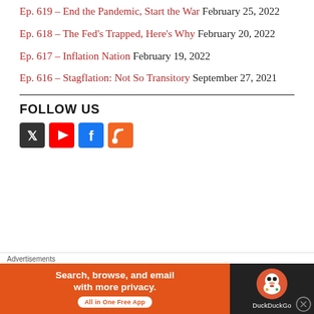Ep. 619 – End the Pandemic, Start the War February 25, 2022
Ep. 618 – The Fed's Trapped, Here's Why February 20, 2022
Ep. 617 – Inflation Nation February 19, 2022
Ep. 616 – Stagflation: Not So Transitory September 27, 2021
FOLLOW US
[Figure (other): Social media icons: Twitter/X, YouTube, Facebook, RSS]
[Figure (other): Advertisement banner: DuckDuckGo — Search, browse, and email with more privacy. All in One Free App]